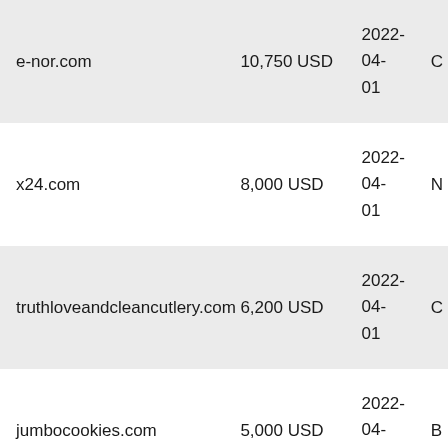| Domain | Price | Date |  |
| --- | --- | --- | --- |
| e-nor.com | 10,750 USD | 2022-04-01 | C |
| x24.com | 8,000 USD | 2022-04-01 | N |
| truthloveandcleancutlery.com | 6,200 USD | 2022-04-01 | C |
| jumbocookies.com | 5,000 USD | 2022-04-01 | B |
| majesticbeds.com | 3,688 USD | 2022-04-01 | B |